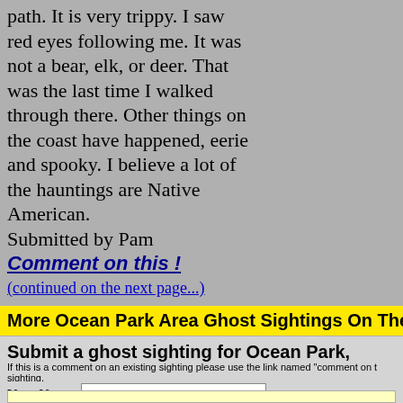path. It is very trippy. I saw red eyes following me. It was not a bear, elk, or deer. That was the last time I walked through there. Other things on the coast have happened, eerie and spooky. I believe a lot of the hauntings are Native American.
Submitted by Pam
Comment on this !
(continued on the next page...)
More Ocean Park Area Ghost Sightings On The Next Page
Submit a ghost sighting for Ocean Park, Washington:
If this is a comment on an existing sighting please use the link named "comment on this" next to the sighting.
Your Name:
Write or Paste Input here: